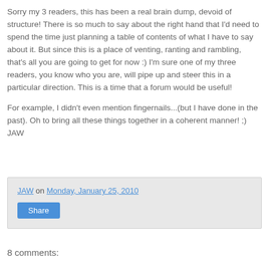Sorry my 3 readers, this has been a real brain dump, devoid of structure!  There is so much to say about the right hand that I'd need to spend the time just planning a table of contents of what I have to say about it.  But since this is a place of venting, ranting and rambling, that's all you are going to get for now :)  I'm sure one of my three readers, you know who you are, will pipe up and steer this in a particular direction.  This is a time that a forum would be useful!

For example, I didn't even mention fingernails...(but I have done in the past).  Oh to bring all these things together in a coherent manner! ;)
JAW
JAW on Monday, January 25, 2010
Share
8 comments: